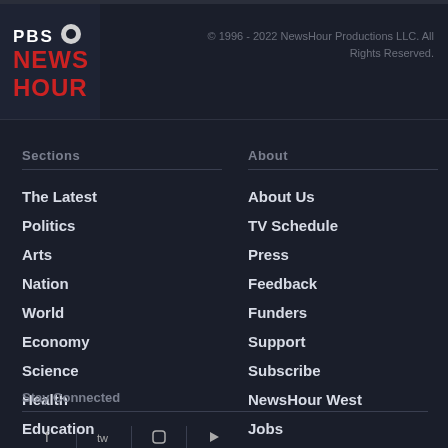[Figure (logo): PBS NewsHour logo - dark background with white PBS text and red NEWS HOUR text]
© 1996 - 2022 NewsHour Productions LLC. All Rights Reserved.
Sections
The Latest
Politics
Arts
Nation
World
Economy
Science
Health
Education
About
About Us
TV Schedule
Press
Feedback
Funders
Support
Subscribe
NewsHour West
Jobs
Privacy
Stay Connected